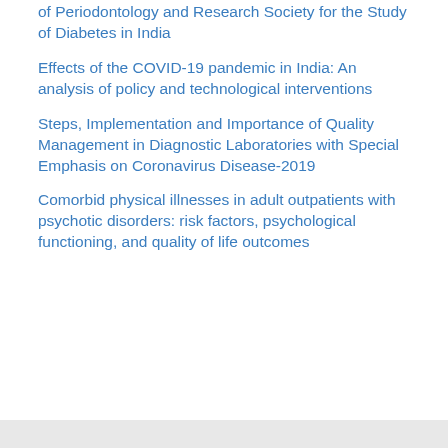of Periodontology and Research Society for the Study of Diabetes in India
Effects of the COVID-19 pandemic in India: An analysis of policy and technological interventions
Steps, Implementation and Importance of Quality Management in Diagnostic Laboratories with Special Emphasis on Coronavirus Disease-2019
Comorbid physical illnesses in adult outpatients with psychotic disorders: risk factors, psychological functioning, and quality of life outcomes